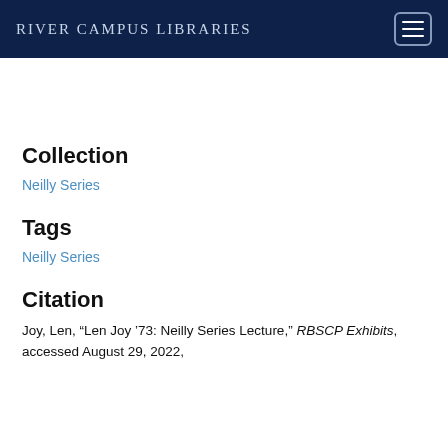River Campus Libraries
Collection
Neilly Series
Tags
Neilly Series
Citation
Joy, Len, “Len Joy ’73: Neilly Series Lecture,” RBSCP Exhibits, accessed August 29, 2022,